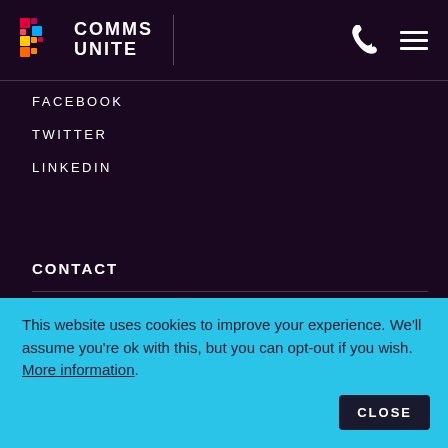COMMS UNITE
FACEBOOK
TWITTER
LINKEDIN
CONTACT
Head Office
BT Innovation Centre,
Columba House,
Adastral Park,
Phone
01473 599020
Email
This website uses cookies to improve your experience. We'll assume you're ok with this, but you can opt-out if you wish. More information. CLOSE